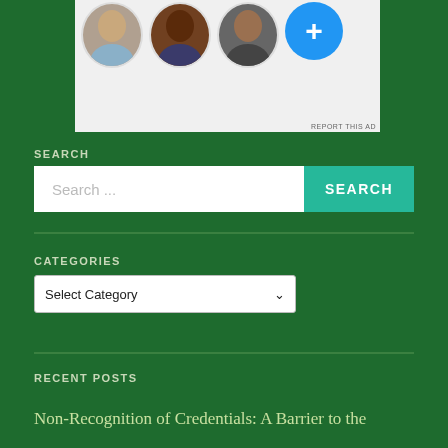[Figure (screenshot): Advertisement area with three circular avatar photos and a blue plus button circle, on a light gray background. 'REPORT THIS AD' text in bottom right.]
SEARCH
[Figure (screenshot): Search bar with placeholder text 'Search ...' and a teal 'SEARCH' button on the right.]
CATEGORIES
[Figure (screenshot): Dropdown selector showing 'Select Category' with a chevron arrow.]
RECENT POSTS
Non-Recognition of Credentials: A Barrier to the